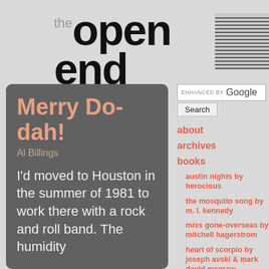the open end
Merry Do-dah!
Al Billings
I'd moved to Houston in the summer of 1981 to work there with a rock and roll band. The humidity
ENHANCED BY Google
Search
about
archives
books
austin nights by herocious
the mosquito song by m. l. kennedy
miss gone-overseas by mitchell hagerstrom
heart of scorpio by joseph avski & mark david mcgraw
the persistence of crows by grant maierhofer